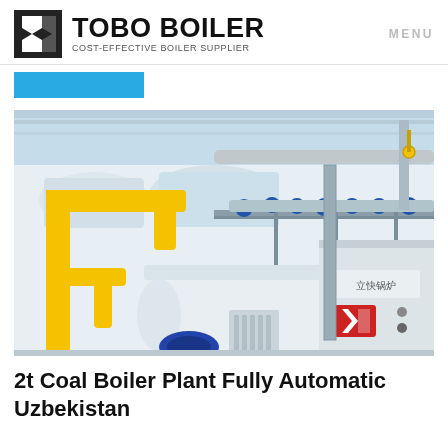TOBO BOILER | COST-EFFECTIVE BOILER SUPPLIER | MENU
[Figure (photo): Industrial boiler plant facility interior showing large cylindrical boilers with yellow piping, blue valve fittings, metal walkways, and a branded boiler unit with Chinese characters and red logo in a factory setting (Tobo Boiler installation in Uzbekistan)]
2t Coal Boiler Plant Fully Automatic Uzbekistan